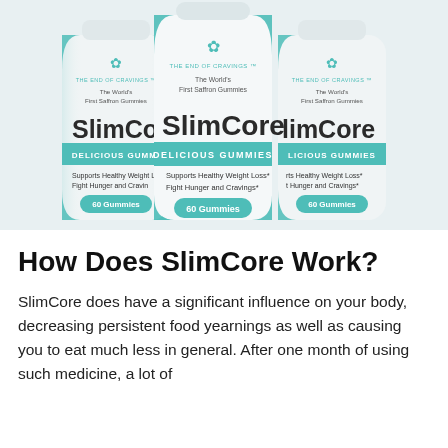[Figure (photo): Three white supplement bottles labeled 'SlimCore Delicious Gummies' with teal accents, showing lotus flower logo, 'THE END OF CRAVINGS' tagline, 'The World's First Saffron Gummies' text, 'Supports Healthy Weight Loss* Fight Hunger and Cravings*' and '60 Gummies' on a light blue-grey background. The center bottle is in front and slightly larger.]
How Does SlimCore Work?
SlimCore does have a significant influence on your body, decreasing persistent food yearnings as well as causing you to eat much less in general. After one month of using such medicine, a lot of